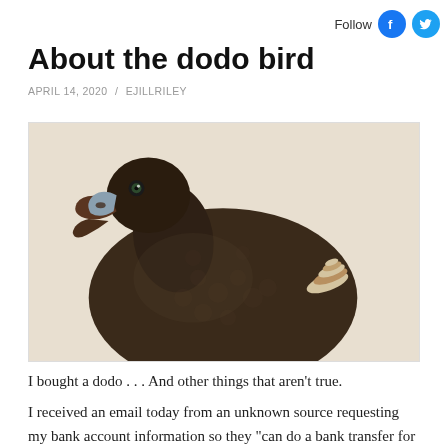Follow
About the dodo bird
APRIL 14, 2020 / EJILLRILEY
[Figure (photo): Illustration of a dodo bird, a large dark brown flightless bird with a distinctive hooked beak and small curled tail feathers, shown in profile against a light beige background.]
I bought a dodo . . . And other things that aren't true.
I received an email today from an unknown source requesting my bank account information so they "can do a bank transfer for the payment of the dodo you